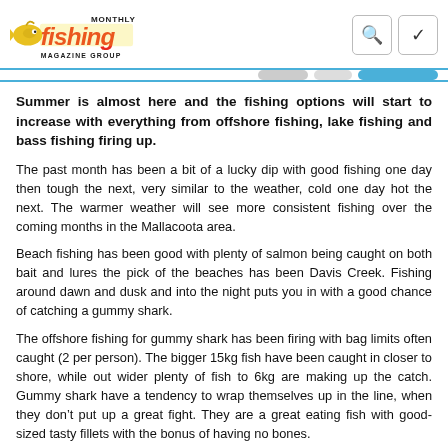Fishing Monthly Magazine Group
Summer is almost here and the fishing options will start to increase with everything from offshore fishing, lake fishing and bass fishing firing up.
The past month has been a bit of a lucky dip with good fishing one day then tough the next, very similar to the weather, cold one day hot the next. The warmer weather will see more consistent fishing over the coming months in the Mallacoota area.
Beach fishing has been good with plenty of salmon being caught on both bait and lures the pick of the beaches has been Davis Creek. Fishing around dawn and dusk and into the night puts you in with a good chance of catching a gummy shark.
The offshore fishing for gummy shark has been firing with bag limits often caught (2 per person). The bigger 15kg fish have been caught in closer to shore, while out wider plenty of fish to 6kg are making up the catch. Gummy shark have a tendency to wrap themselves up in the line, when they don’t put up a great fight. They are a great eating fish with good-sized tasty fillets with the bonus of having no bones.